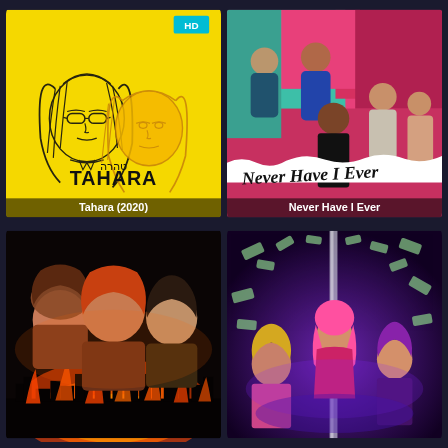[Figure (photo): Movie poster for Tahara (2020) - yellow background with line art illustration of two female faces with long hair, Hebrew text טהרה and bold text TAHARA, HD badge in top right corner, title overlay at bottom]
[Figure (photo): TV show poster for Never Have I Ever - group of teenage characters posed against colorful pink and green background, title in stylized handwritten white text, title overlay at bottom]
[Figure (photo): Movie/show poster with dark horror theme - three young people (two girls, one boy) with fiery orange and red flames and dark cityscape silhouette below, ominous atmosphere]
[Figure (photo): Movie/show poster with purple/blue neon theme - women with pink hair in glamorous poses with money raining down, nightclub/strip club atmosphere]